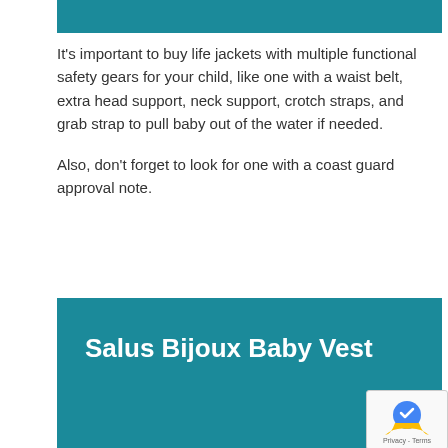[Figure (other): Teal/blue-green decorative header bar at the top of the content area]
It's important to buy life jackets with multiple functional safety gears for your child, like one with a waist belt, extra head support, neck support, crotch straps, and grab strap to pull baby out of the water if needed.

Also, don't forget to look for one with a coast guard approval note.
Salus Bijoux Baby Vest